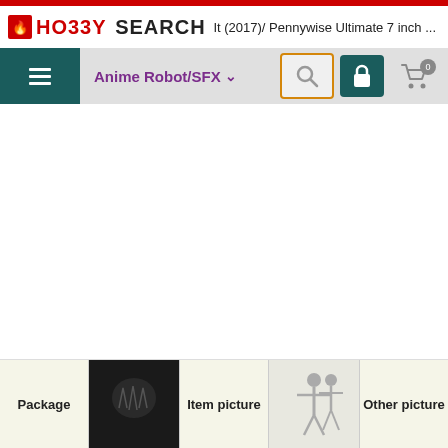[Figure (screenshot): Hobby Search website header with red top bar, logo reading HO33Y SEARCH, and page title 'It (2017)/ Pennywise Ultimate 7 inch ...']
[Figure (screenshot): Navigation bar with teal hamburger menu, 'Anime Robot/SFX' category dropdown in purple, search button (highlighted with orange border), lock button, and cart button showing 0 items]
[Figure (screenshot): White blank content area (product image loading area)]
[Figure (screenshot): Bottom thumbnail strip showing Package label, dark product thumbnail, Item picture label, skeleton figure thumbnail, Other picture label, and two more dark thumbnails]